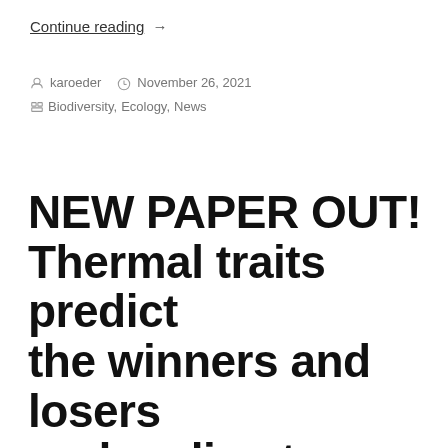Continue reading →
By karoeder  November 26, 2021  Categories: Biodiversity, Ecology, News
NEW PAPER OUT! Thermal traits predict the winners and losers under climate change: an example from North American ant